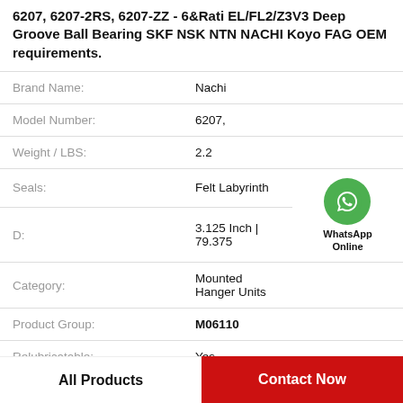6207, 6207-2RS, 6207-ZZ - 6&Rati EL/FL2/Z3V3 Deep Groove Ball Bearing SKF NSK NTN NACHI Koyo FAG OEM requirements.
| Field | Value |
| --- | --- |
| Brand Name: | Nachi |
| Model Number: | 6207, |
| Weight / LBS: | 2.2 |
| Seals: | Felt Labyrinth |
| D: | 3.125 Inch | 79.375 |
| Category: | Mounted Hanger Units |
| Product Group: | M06110 |
| Relubricatable: | Yes |
All Products
Contact Now